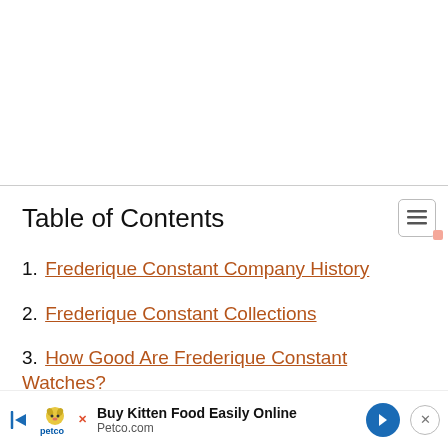Table of Contents
1. Frederique Constant Company History
2. Frederique Constant Collections
3. How Good Are Frederique Constant Watches? The Pros and Cons
4. The...
[Figure (screenshot): Petco advertisement banner: Buy Kitten Food Easily Online, Petco.com, with Petco logo and navigation arrow]